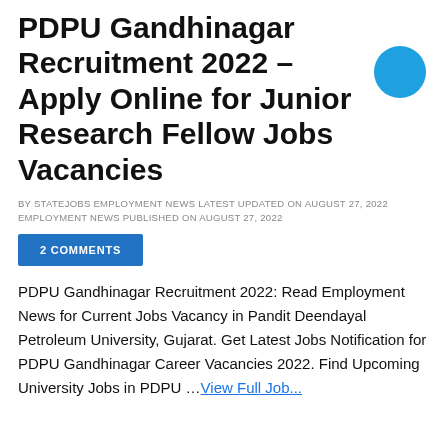PDPU Gandhinagar Recruitment 2022 – Apply Online for Junior Research Fellow Jobs Vacancies
BY STATEJOBS EMPLOYMENT NEWS LATEST UPDATED ON AUGUST 27, 2022 EMPLOYMENT NEWS PUBLISHED ON AUGUST 27, 2022
2 COMMENTS
PDPU Gandhinagar Recruitment 2022: Read Employment News for Current Jobs Vacancy in Pandit Deendayal Petroleum University, Gujarat. Get Latest Jobs Notification for PDPU Gandhinagar Career Vacancies 2022. Find Upcoming University Jobs in PDPU … View Full Job...